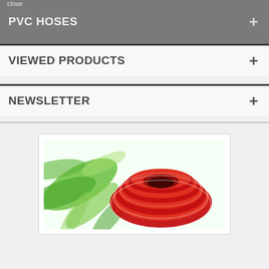close
PVC HOSES
VIEWED PRODUCTS
NEWSLETTER
[Figure (photo): A coil of red PVC hose on a green decorative background, shown inside a product card with white border]